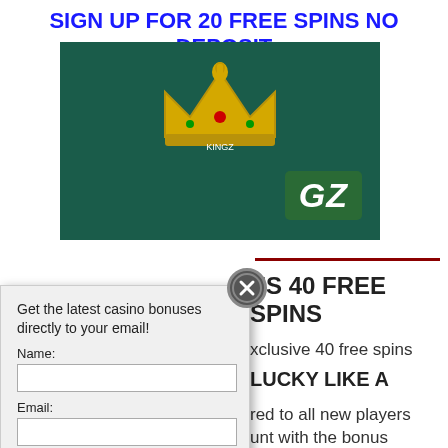SIGN UP FOR 20 FREE SPINS NO DEPOSIT
[Figure (illustration): Casino banner with dark green background, gold crown logo and 'GZ' text (Kingz casino branding)]
Get the latest casino bonuses directly to your email!
Name:
Email:
SIGN UP NOW!
We respect your email privacy
Powered by AWeber Email Marketing
By subscribing you are certifying that you have reviewed and accepted our updated Privacy and Cookie policy.
ES 40 FREE SPINS
xclusive 40 free spins
LUCKY LIKE A
red to all new players
unt with the bonus